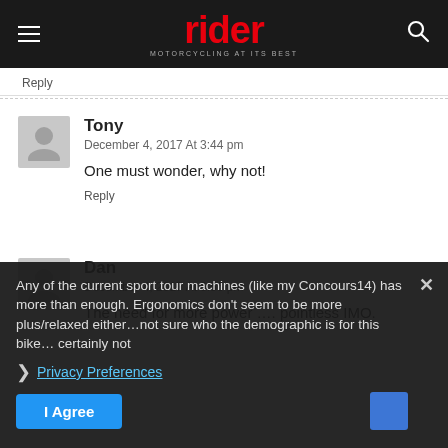[Figure (logo): Rider magazine logo with red 'rider' text and tagline 'MOTORCYCLING AT ITS BEST' on dark header bar]
Reply
Tony
December 4, 2017 At 3:44 pm
One must wonder, why not!
Reply
Dan
December 4, 2017 At 6:56 pm
The need for more power …. pointless IMO.
Any of the current sport tour machines (like my Concours14) has more than enough.
Ergonomics don't seem to be more plus/relaxed either…not sure who the demographic is for this bike…certainly not
Privacy Preferences
I Agree